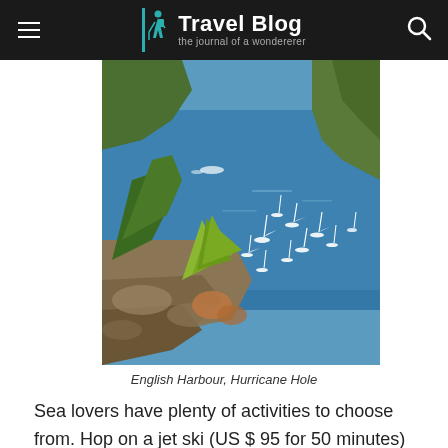Travel Blog — the journal of a wondererer
[Figure (photo): Aerial view of English Harbour, Hurricane Hole, Antigua — blue water bay with numerous sailboats anchored, rocky hillside with tropical vegetation in the foreground]
English Harbour, Hurricane Hole
Sea lovers have plenty of activities to choose from. Hop on a jet ski (US $ 95 for 50 minutes) and speed across